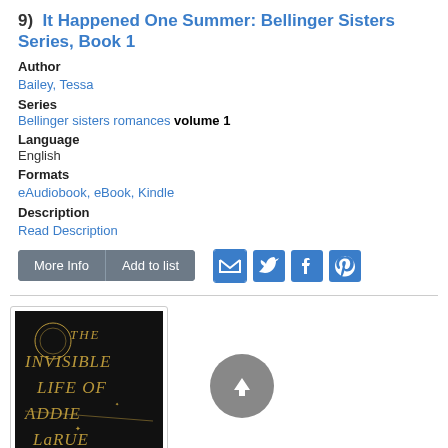9)  It Happened One Summer: Bellinger Sisters Series, Book 1
Author
Bailey, Tessa
Series
Bellinger sisters romances volume 1
Language
English
Formats
eAudiobook, eBook, Kindle
Description
Read Description
[Figure (screenshot): Book cover for The Invisible Life of Addie LaRue with dark background and gold ornate text]
[Figure (other): Gray circular button with upward arrow icon]